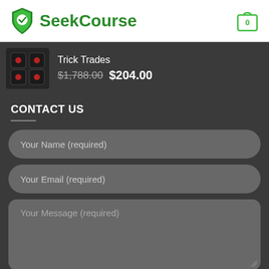SeekCourse
Trick Trades  $1,788.00  $204.00
CONTACT US
Your Name (required)
Your Email (required)
Your Message (required)